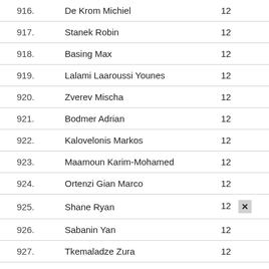| # | Name | Score |
| --- | --- | --- |
| 916. | De Krom Michiel | 12 |
| 917. | Stanek Robin | 12 |
| 918. | Basing Max | 12 |
| 919. | Lalami Laaroussi Younes | 12 |
| 920. | Zverev Mischa | 12 |
| 921. | Bodmer Adrian | 12 |
| 922. | Kalovelonis Markos | 12 |
| 923. | Maamoun Karim-Mohamed | 12 |
| 924. | Ortenzi Gian Marco | 12 |
| 925. | Shane Ryan | 12 |
| 926. | Sabanin Yan | 12 |
| 927. | Tkemaladze Zura | 12 |
| 928. | Rodriguez Lorenzo Joaquin | 12 |